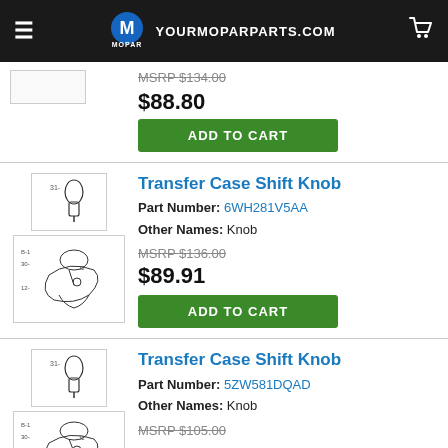YOURMOPARPARTS.COM
MSRP $134.00
$88.80
ADD TO CART
Transfer Case Shift Knob
Part Number: 6WH281V5AA
Other Names: Knob
MSRP $136.00
$89.91
ADD TO CART
Transfer Case Shift Knob
Part Number: 5ZW581DQAD
Other Names: Knob
MSRP $105.00